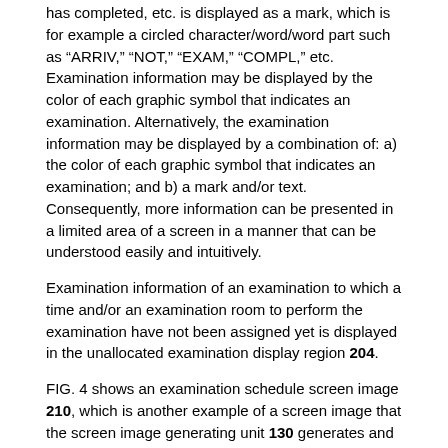has completed, etc. is displayed as a mark, which is for example a circled character/word/word part such as "ARRIV," "NOT," "EXAM," "COMPL," etc. Examination information may be displayed by the color of each graphic symbol that indicates an examination. Alternatively, the examination information may be displayed by a combination of: a) the color of each graphic symbol that indicates an examination; and b) a mark and/or text. Consequently, more information can be presented in a limited area of a screen in a manner that can be understood easily and intuitively.
Examination information of an examination to which a time and/or an examination room to perform the examination have not been assigned yet is displayed in the unallocated examination display region 204.
FIG. 4 shows an examination schedule screen image 210, which is another example of a screen image that the screen image generating unit 130 generates and that is displayed on the display device 50. The examination schedule screen image 210 includes an unallocated examination display region and a schedule display region 216. The unallocated examination display region includes a time undetermined field 212 for displaying examination information on an examination to which a time is not allocated, and an examination room undetermined field 214 for displaying examination information on an examination to which an examination room is not allocated. In the exemplary screen image shown in FIG. 4, the time undetermined field 212 and the examination room undetermined field 214